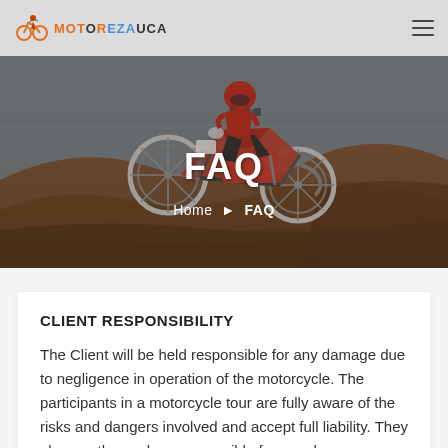MOTOREZAUCA
[Figure (photo): Dirt bike motorcycle rider performing a jump over sand dunes in a desert landscape. The sky is overcast. The hero image occupies the top portion of the page. Text overlay reads FAQ with breadcrumb Home > FAQ.]
FAQ
Home > FAQ
CLIENT RESPONSIBILITY
The Client will be held responsible for any damage due to negligence in operation of the motorcycle. The participants in a motorcycle tour are fully aware of the risks and dangers involved and accept full liability. They also are themselves responsible for any damage caused